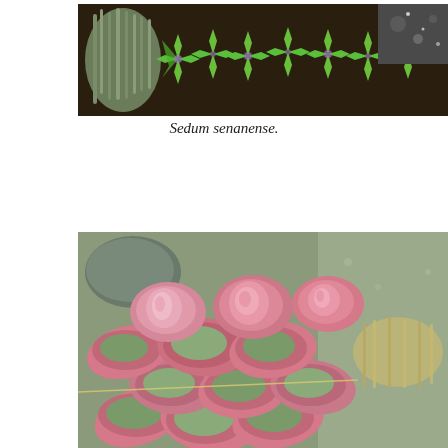[Figure (photo): Close-up photograph of Sedum senanense, a low-growing succulent plant with star-shaped bright green leaves spreading across dark soil, with another plant visible on the left side.]
Sedum senanense.
[Figure (photo): Close-up photograph of a succulent plant with rounded pink and green leaves clustered together, showing pink-edged green succulent rosettes densely packed, with gravel and rocks visible in the background.]